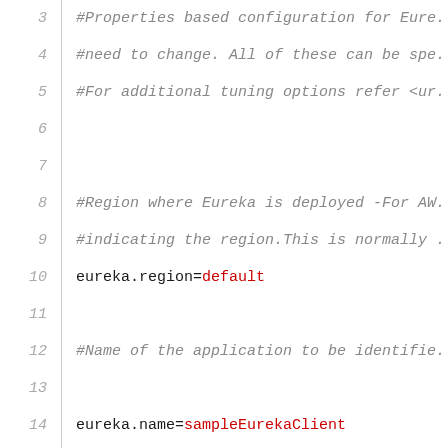3  #Properties based configuration for Eure...
4  #need to change. All of these can be spe...
5  #For additional tuning options refer <ur...
6  (empty)
7  (empty)
8  #Region where Eureka is deployed -For AW...
9  #indicating the region.This is normally ...
10 eureka.region=default
11 (empty)
12 #Name of the application to be identifie...
13 (empty)
14 eureka.name=sampleEurekaClient
15 (empty)
16 #Virtual host name by which the clients ...
17 #eureka.vipAddress=eureka.mydomain.net
18 (empty)
19 #The port where the service will be runn...
20 #eureka.port=80
21 (empty)
22 #For eureka clients running in eureka se...